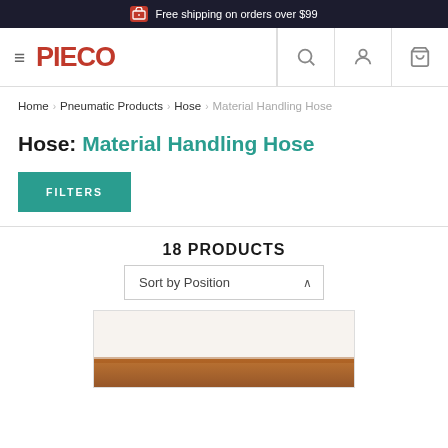Free shipping on orders over $99
[Figure (screenshot): PIECO logo and navigation bar with hamburger menu, search, account, and cart icons]
Home > Pneumatic Products > Hose > Material Handling Hose
Hose: Material Handling Hose
FILTERS
18 PRODUCTS
Sort by Position
[Figure (photo): Partial product image showing a brown material handling hose]